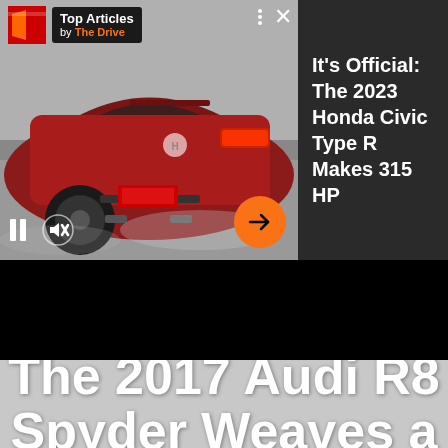[Figure (screenshot): Screenshot of a video player showing a red 2023 Honda Civic Type R from behind, with playback controls (pause, mute) and a 'Top Articles by The Drive' overlay badge, plus a dots menu and X close button]
It's Official: The 2023 Honda Civic Type R Makes 315 HP
The 2017 Audi R8 Spyder Weaves a